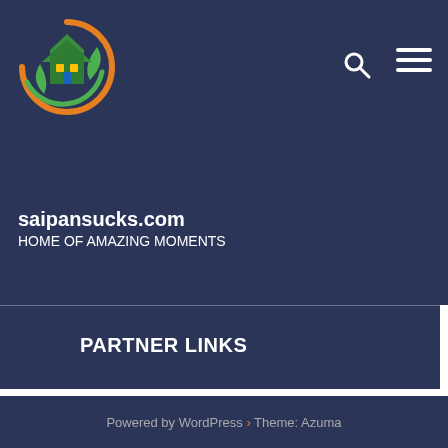[Figure (logo): Circular logo with a house and leaf design, orange and green colors on dark blue background]
saipansucks.com HOME OF AMAZING MOMENTS
PARTNER LINKS
VISIT
Exterior
Powered by WordPress > Theme: Azuma